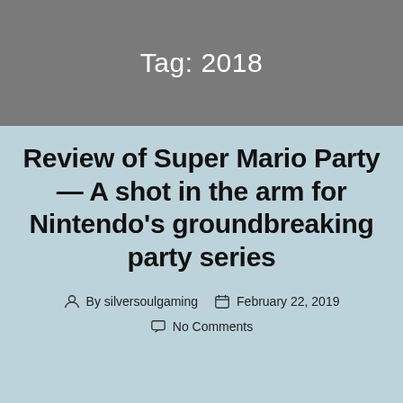Tag: 2018
Review of Super Mario Party — A shot in the arm for Nintendo's groundbreaking party series
By silversoulgaming   February 22, 2019
No Comments